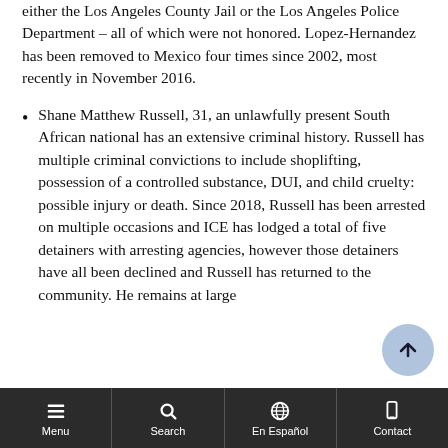either the Los Angeles County Jail or the Los Angeles Police Department – all of which were not honored. Lopez-Hernandez has been removed to Mexico four times since 2002, most recently in November 2016.
Shane Matthew Russell, 31, an unlawfully present South African national has an extensive criminal history. Russell has multiple criminal convictions to include shoplifting, possession of a controlled substance, DUI, and child cruelty: possible injury or death. Since 2018, Russell has been arrested on multiple occasions and ICE has lodged a total of five detainers with arresting agencies, however those detainers have all been declined and Russell has returned to the community. He remains at large.
Menu | Search | En Español | Contact